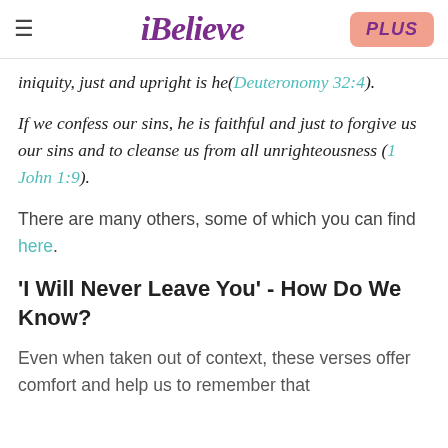≡  iBelieve  PLUS
iniquity, just and upright is he(Deuteronomy 32:4).
If we confess our sins, he is faithful and just to forgive us our sins and to cleanse us from all unrighteousness (1 John 1:9).
There are many others, some of which you can find here.
'I Will Never Leave You' - How Do We Know?
Even when taken out of context, these verses offer comfort and help us to remember that